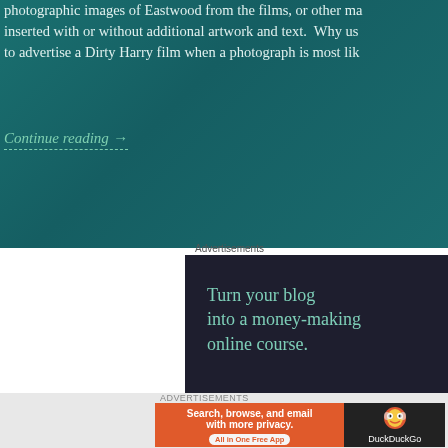photographic images of Eastwood from the films, or other materials inserted with or without additional artwork and text. Why use to advertise a Dirty Harry film when a photograph is most like
Continue reading →
Advertisements
[Figure (infographic): Advertisement for Sensei: 'Turn your blog into a money-making online course.' with a Learn More button and Sensei logo on dark background]
Advertisements
[Figure (infographic): DuckDuckGo advertisement: 'Search, browse, and email with more privacy. All in One Free App' with DuckDuckGo duck logo on dark background]